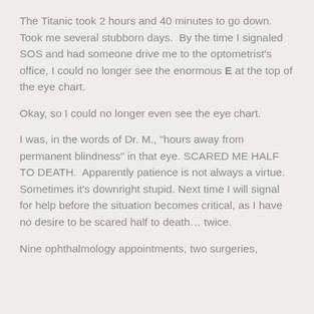The Titanic took 2 hours and 40 minutes to go down. Took me several stubborn days. By the time I signaled SOS and had someone drive me to the optometrist's office, I could no longer see the enormous E at the top of the eye chart.
Okay, so I could no longer even see the eye chart.
I was, in the words of Dr. M., "hours away from permanent blindness" in that eye. SCARED ME HALF TO DEATH. Apparently patience is not always a virtue. Sometimes it's downright stupid. Next time I will signal for help before the situation becomes critical, as I have no desire to be scared half to death… twice.
Nine ophthalmology appointments, two surgeries,